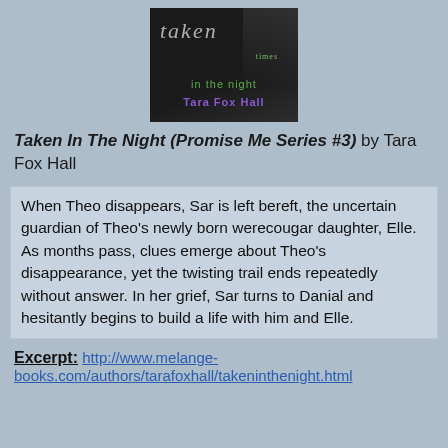[Figure (illustration): Book cover of 'Taken in the Night' by Tara Fox Hall. Dark background with a man's face partially visible, stylized script title 'taken' and subtitle 'in the night' in green, author name 'Tara Fox Hall' in purple.]
Taken In The Night (Promise Me Series #3) by Tara Fox Hall
When Theo disappears, Sar is left bereft, the uncertain guardian of Theo's newly born werecougar daughter, Elle. As months pass, clues emerge about Theo's disappearance, yet the twisting trail ends repeatedly without answer. In her grief, Sar turns to Danial and hesitantly begins to build a life with him and Elle.
Excerpt: http://www.melange-books.com/authors/tarafoxhall/takeninthenight.html